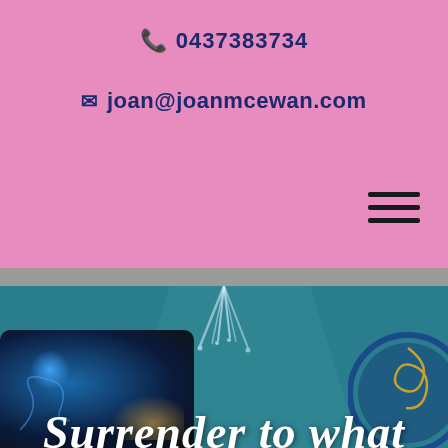📞 0437383734
✉ joan@joanmcewan.com
[Figure (screenshot): Website header section with pink background, phone number 0437383734 and email joan@joanmcewan.com, hamburger menu icon, grey divider band, teal section with fountain/water spray visual, dark starry card image bottom-left, circular ornament bottom-right, and white italic text partially visible reading 'Surrender to wha...']
Surrender to wha